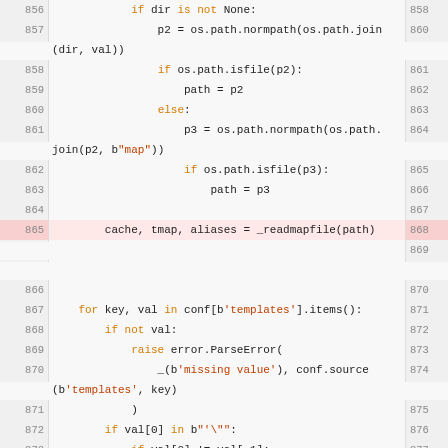[Figure (screenshot): Source code viewer showing Python code lines 856-873 and 994-997, with line numbers on both left and right sides, syntax highlighting in orange/red, and line 865 highlighted in pink background.]